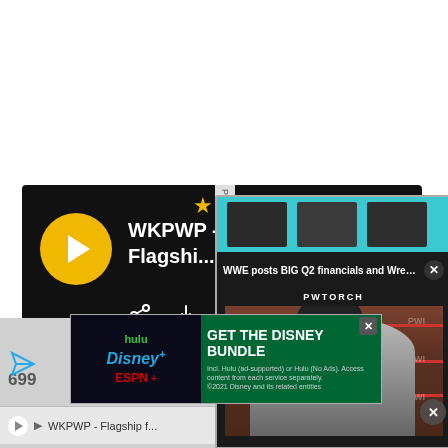[Figure (screenshot): Screenshot of a podcast audio player interface showing WKPWP - Flagship... episode with play button, share, download icons, timestamps 00:00 and 02:2, and a yellow progress knob. Overlaid is a video popup showing WWE posts BIG Q2 financials and Wrestl... with PWTORCH branding and a man in a cap, plus a Disney Bundle advertisement banner.]